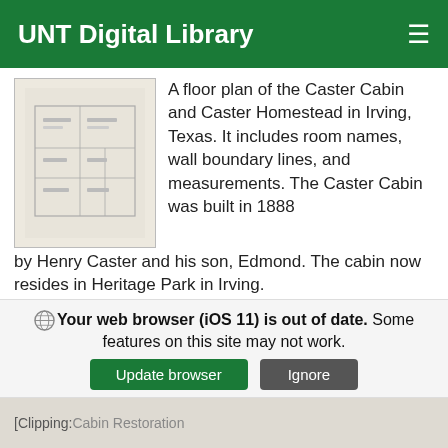UNT Digital Library
[Figure (other): Thumbnail image of a floor plan document - Caster Cabin and Caster Homestead]
A floor plan of the Caster Cabin and Caster Homestead in Irving, Texas. It includes room names, wall boundary lines, and measurements. The Caster Cabin was built in 1888 by Henry Caster and his son, Edmond. The cabin now resides in Heritage Park in Irving.
DATE: 1974
ITEM TYPE: Technical Drawing
LOCATION: 32.812300 -96.946579
PARTNER: UNT Libraries Special Collections
Your web browser (iOS 11) is out of date. Some features on this site may not work.
Update browser   Ignore
[Clipping: Cabin Restoration